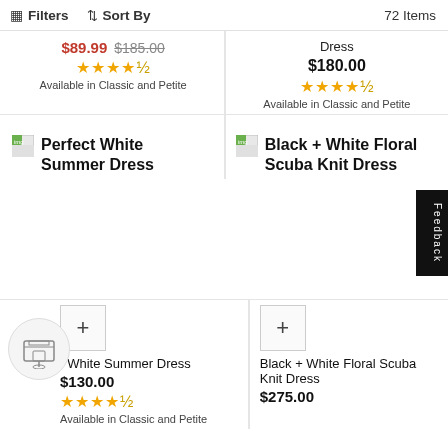Filters  Sort By  72 Items
$89.99  $185.00
★★★★½
Available in Classic and Petite
Dress
$180.00
★★★★½
Available in Classic and Petite
Perfect White Summer Dress
Black + White Floral Scuba Knit Dress
White Summer Dress
$130.00
★★★★½
Available in Classic and Petite
Black + White Floral Scuba Knit Dress
$275.00